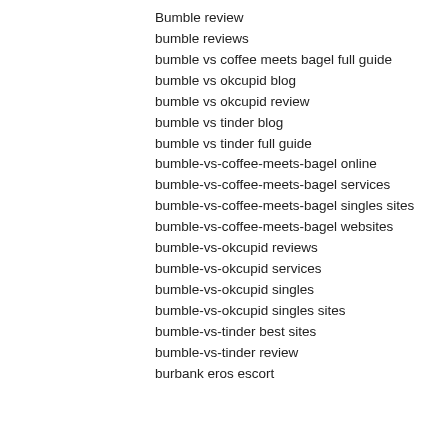Bumble review
bumble reviews
bumble vs coffee meets bagel full guide
bumble vs okcupid blog
bumble vs okcupid review
bumble vs tinder blog
bumble vs tinder full guide
bumble-vs-coffee-meets-bagel online
bumble-vs-coffee-meets-bagel services
bumble-vs-coffee-meets-bagel singles sites
bumble-vs-coffee-meets-bagel websites
bumble-vs-okcupid reviews
bumble-vs-okcupid services
bumble-vs-okcupid singles
bumble-vs-okcupid singles sites
bumble-vs-tinder best sites
bumble-vs-tinder review
burbank eros escort